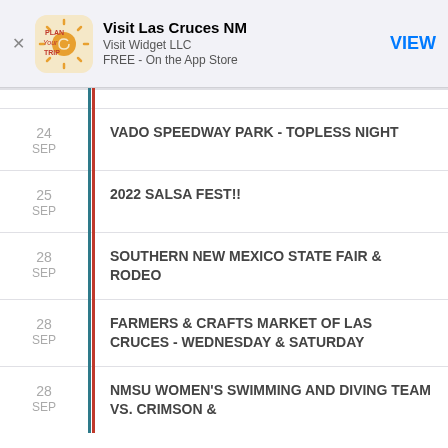[Figure (screenshot): App banner: Plan Your Trip app icon with sun/spiral design]
Visit Las Cruces NM
Visit Widget LLC
FREE - On the App Store
VIEW
24 SEP — VADO SPEEDWAY PARK - TOPLESS NIGHT
25 SEP — 2022 SALSA FEST!!
28 SEP — SOUTHERN NEW MEXICO STATE FAIR & RODEO
28 SEP — FARMERS & CRAFTS MARKET OF LAS CRUCES - WEDNESDAY & SATURDAY
28 SEP — NMSU WOMEN'S SWIMMING AND DIVING TEAM VS. CRIMSON &